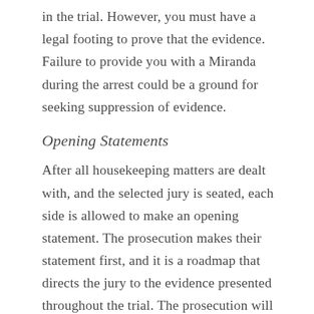in the trial. However, you must have a legal footing to prove that the evidence. Failure to provide you with a Miranda during the arrest could be a ground for seeking suppression of evidence.
Opening Statements
After all housekeeping matters are dealt with, and the selected jury is seated, each side is allowed to make an opening statement. The prosecution makes their statement first, and it is a roadmap that directs the jury to the evidence presented throughout the trial. The prosecution will mostly state the crime you face charges and how they intend to prove your guilt under the Texas Penal